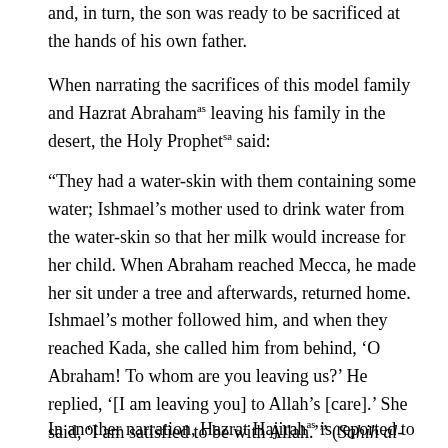and, in turn, the son was ready to be sacrificed at the hands of his own father.
When narrating the sacrifices of this model family and Hazrat Abraham leaving his family in the desert, the Holy Prophet said:
“They had a water-skin with them containing some water; Ishmael’s mother used to drink water from the water-skin so that her milk would increase for her child. When Abraham reached Mecca, he made her sit under a tree and afterwards, returned home. Ishmael’s mother followed him, and when they reached Kada, she called him from behind, ‘O Abraham! To whom are you leaving us?’ He replied, ‘[I am leaving you] to Allah’s [care].’ She said, ‘I am satisfied to be with Allah.’” (Sahih al-Bukhari, Kitab al-Anbiya)
In another narration, Hazrat Hajirah is reported to have responded by saying: